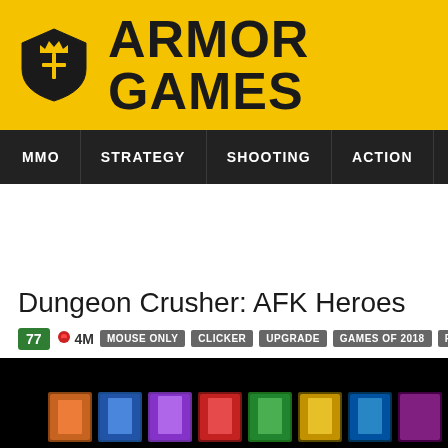ARMOR GAMES
MMO | STRATEGY | SHOOTING | ACTION | ADVENTURE | P
Dungeon Crusher: AFK Heroes
77 | 4M | MOUSE ONLY | CLICKER | UPGRADE | GAMES OF 2018 | FANTASY
[Figure (screenshot): Dark game screenshot showing colorful fantasy character thumbnails in a horizontal strip on a black background]